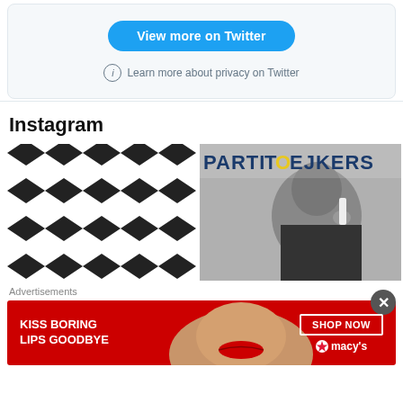[Figure (screenshot): Twitter embed box with 'View more on Twitter' blue button and privacy notice]
Instagram
[Figure (photo): Black and white chevron zigzag pattern image]
[Figure (photo): Black and white photo with 'PARTITOEJKERS' or similar text overlay]
Advertisements
[Figure (screenshot): Macy's advertisement banner: KISS BORING LIPS GOODBYE with SHOP NOW button and Macy's logo]